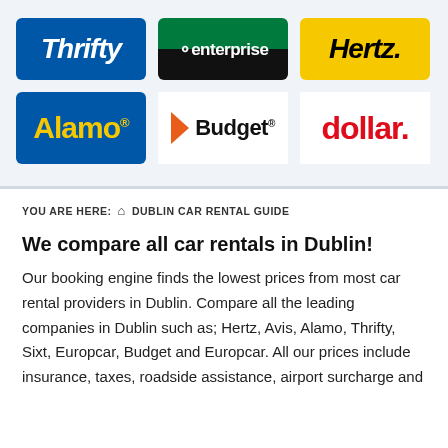[Figure (logo): Six car rental company logos: Thrifty (blue background, white italic text), Enterprise (green/black background, white text), Hertz (yellow background, black italic text), Alamo (blue background, yellow text), Budget (white background with orange chevron and black text), Dollar (white background, red text)]
YOU ARE HERE: ⌂ DUBLIN CAR RENTAL GUIDE
We compare all car rentals in Dublin!
Our booking engine finds the lowest prices from most car rental providers in Dublin. Compare all the leading companies in Dublin such as; Hertz, Avis, Alamo, Thrifty, Sixt, Europcar, Budget and Europcar. All our prices include insurance, taxes, roadside assistance, airport surcharge and